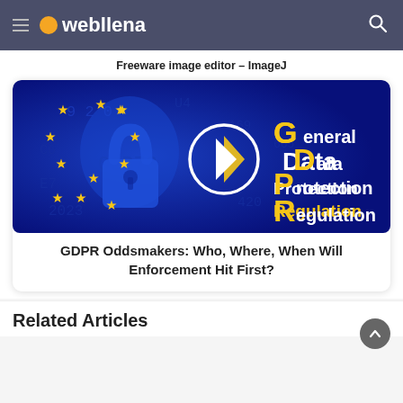webllena
Freeware image editor – ImageJ
[Figure (screenshot): GDPR banner image showing EU stars on blue background with a padlock and the text General Data Protection Regulation in gold/white on blue, with a play button circle in the center]
GDPR Oddsmakers: Who, Where, When Will Enforcement Hit First?
Related Articles